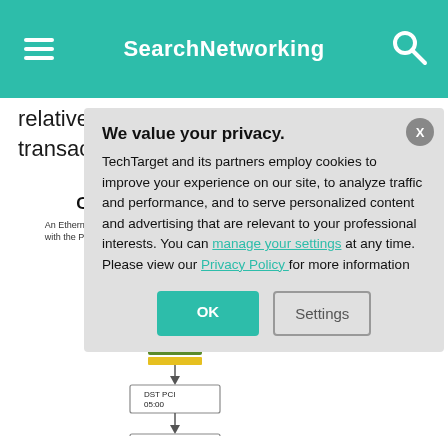SearchNetworking
relatively small part of the overall transaction time.
[Figure (infographic): Diagram card showing 'CPUs and software switches' with a network diagram of DST MAC, Guest_1, DST PCI 05:00, and CPU components with arrows, partially obscured by privacy overlay.]
We value your privacy.
TechTarget and its partners employ cookies to improve your experience on our site, to analyze traffic and performance, and to serve personalized content and advertising that are relevant to your professional interests. You can manage your settings at any time. Please view our Privacy Policy for more information